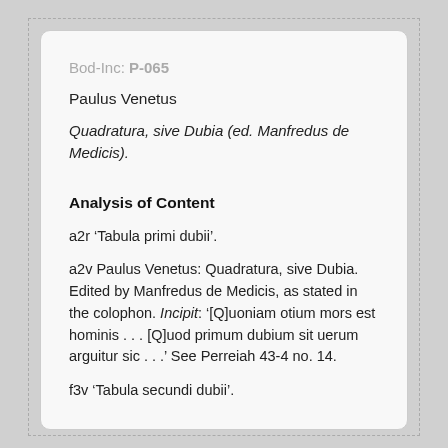Bod-Inc: P-065
Paulus Venetus
Quadratura, sive Dubia (ed. Manfredus de Medicis).
Analysis of Content
a2r ‘Tabula primi dubii’.
a2v Paulus Venetus: Quadratura, sive Dubia. Edited by Manfredus de Medicis, as stated in the colophon. Incipit: ‘[Q]uoniam otium mors est hominis . . . [Q]uod primum dubium sit uerum arguitur sic . . .’ See Perreiah 43-4 no. 14.
f3v ‘Tabula secundi dubii’.